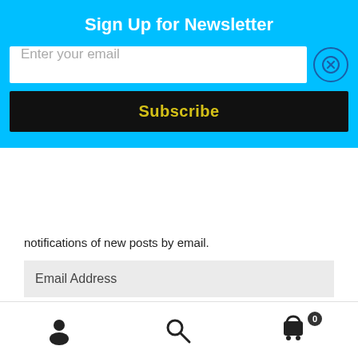Sign Up for Newsletter
Enter your email
Subscribe
notifications of new posts by email.
Email Address
Subscribe
Join 872 other subscribers
[Figure (screenshot): Bottom navigation bar with user account icon, search icon, and cart icon with badge showing 0]